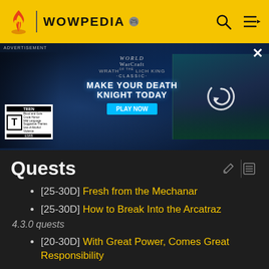WOWPEDIA
[Figure (screenshot): World of Warcraft Wrath of the Lich King Classic advertisement banner with ESRB Teen rating, showing 'Make Your Death Knight Today' and 'Play Now' button, with a video player panel on the right showing a loading spinner.]
Quests
[25-30D] Fresh from the Mechanar
[25-30D] How to Break Into the Arcatraz
4.3.0 quests
[20-30D] With Great Power, Comes Great Responsibility
[20-30D] The Calculator